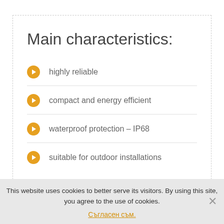Main characteristics:
highly reliable
compact and energy efficient
waterproof protection – IP68
suitable for outdoor installations
This website uses cookies to better serve its visitors. By using this site, you agree to the use of cookies.
Съгласен съм.